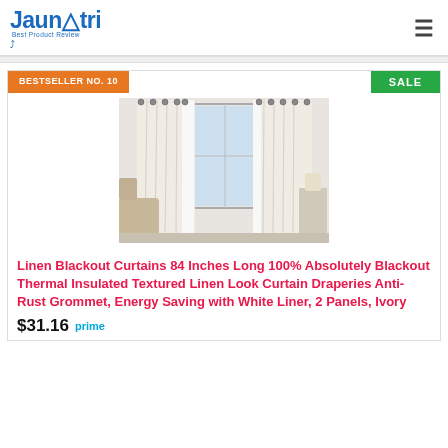Jaunatri Best Product Review
BESTSELLER NO. 10
SALE
[Figure (photo): Product photo of ivory/white blackout curtains hanging by a window in a living room setting]
Linen Blackout Curtains 84 Inches Long 100% Absolutely Blackout Thermal Insulated Textured Linen Look Curtain Draperies Anti-Rust Grommet, Energy Saving with White Liner, 2 Panels, Ivory
$31.16